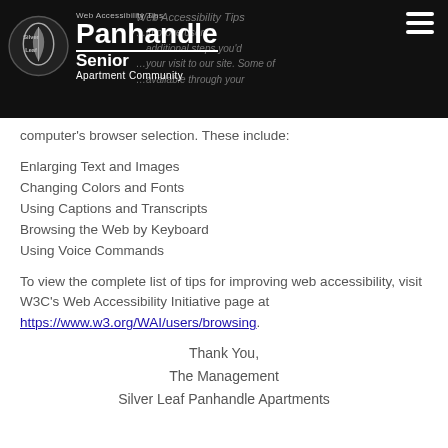Web Accessibility Tips
Panhandle Senior Apartment Community
computer's browser selection. These include:
Enlarging Text and Images
Changing Colors and Fonts
Using Captions and Transcripts
Browsing the Web by Keyboard
Using Voice Commands
To view the complete list of tips for improving web accessibility, visit W3C's Web Accessibility Initiative page at https://www.w3.org/WAI/users/browsing.
Thank You,
The Management
Silver Leaf Panhandle Apartments